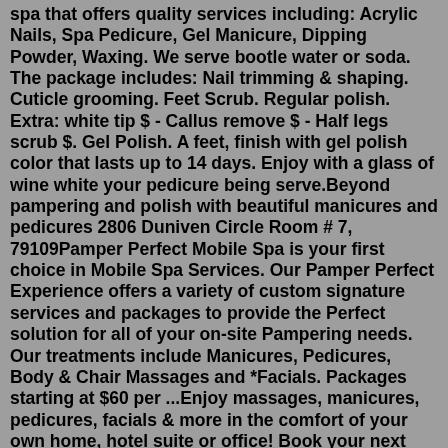spa that offers quality services including: Acrylic Nails, Spa Pedicure, Gel Manicure, Dipping Powder, Waxing. We serve bootle water or soda. The package includes: Nail trimming & shaping. Cuticle grooming. Feet Scrub. Regular polish. Extra: white tip $ - Callus remove $ - Half legs scrub $. Gel Polish. A feet, finish with gel polish color that lasts up to 14 days. Enjoy with a glass of wine white your pedicure being serve.Beyond pampering and polish with beautiful manicures and pedicures 2806 Duniven Circle Room # 7, 79109Pamper Perfect Mobile Spa is your first choice in Mobile Spa Services. Our Pamper Perfect Experience offers a variety of custom signature services and packages to provide the Perfect solution for all of your on-site Pampering needs. Our treatments include Manicures, Pedicures, Body & Chair Massages and *Facials. Packages starting at $60 per ...Enjoy massages, manicures, pedicures, facials & more in the comfort of your own home, hotel suite or office! Book your next spa party online, plus